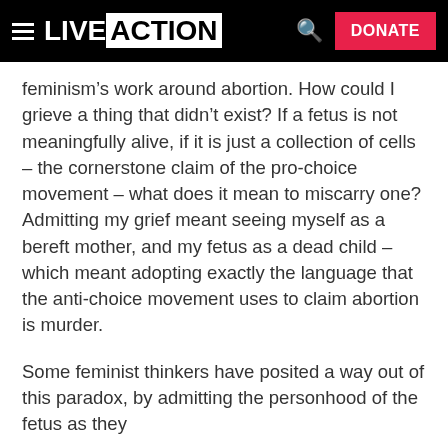LIVE ACTION  DONATE
feminism’s work around abortion. How could I grieve a thing that didn’t exist? If a fetus is not meaningfully alive, if it is just a collection of cells – the cornerstone claim of the pro-choice movement – what does it mean to miscarry one? Admitting my grief meant seeing myself as a bereft mother, and my fetus as a dead child – which meant adopting exactly the language that the anti-choice movement uses to claim abortion is murder.
Some feminist thinkers have posited a way out of this paradox, by admitting the personhood of the fetus as they